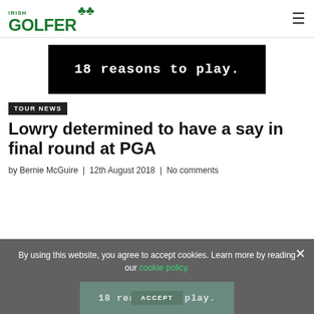IRISH GOLFER
[Figure (other): Advertisement banner with black background and white handwritten-style text reading '18 reasons to play.']
TOUR NEWS
Lowry determined to have a say in final round at PGA
by Bernie McGuire | 12th August 2018 | No comments
By using this website, you agree to accept cookies. Learn more by reading our cookie policy.